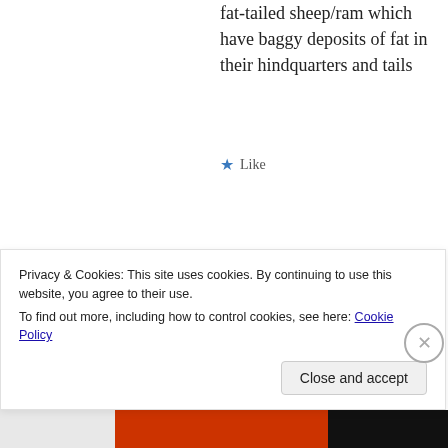fat-tailed sheep/ram which have baggy deposits of fat in their hindquarters and tails
★ Like
[Figure (illustration): Geometric teal/cyan decorative avatar pattern for user Taha]
Taha
July 25, 2020 at 5:21 am
Salaams, that's a great question. I had a dig around a couple of tafasīr, and it seems th...
Privacy & Cookies: This site uses cookies. By continuing to use this website, you agree to their use.
To find out more, including how to control cookies, see here: Cookie Policy
Close and accept